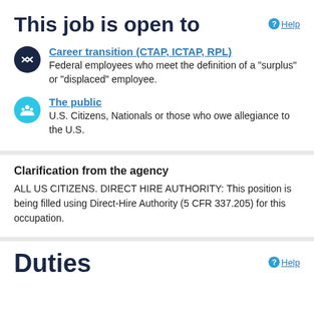This job is open to
Career transition (CTAP, ICTAP, RPL)
Federal employees who meet the definition of a "surplus" or "displaced" employee.
The public
U.S. Citizens, Nationals or those who owe allegiance to the U.S.
Clarification from the agency
ALL US CITIZENS. DIRECT HIRE AUTHORITY: This position is being filled using Direct-Hire Authority (5 CFR 337.205) for this occupation.
Duties